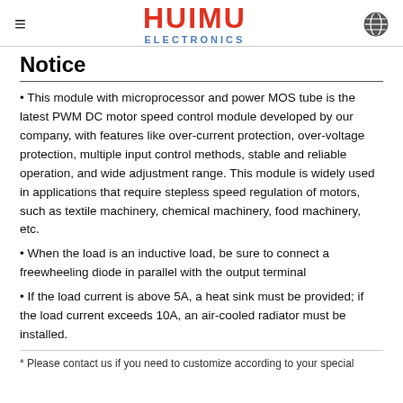HUIMU ELECTRONICS
Notice
This module with microprocessor and power MOS tube is the latest PWM DC motor speed control module developed by our company, with features like over-current protection, over-voltage protection, multiple input control methods, stable and reliable operation, and wide adjustment range. This module is widely used in applications that require stepless speed regulation of motors, such as textile machinery, chemical machinery, food machinery, etc.
When the load is an inductive load, be sure to connect a freewheeling diode in parallel with the output terminal
If the load current is above 5A, a heat sink must be provided; if the load current exceeds 10A, an air-cooled radiator must be installed.
* Please contact us if you need to customize according to your special